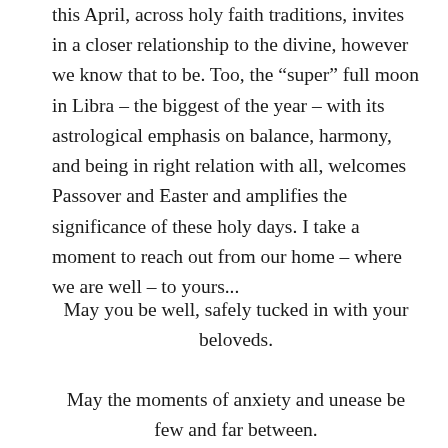this April, across holy faith traditions, invites in a closer relationship to the divine, however we know that to be.  Too, the “super” full moon in Libra – the biggest of the year – with its astrological emphasis on balance, harmony, and being in right relation with all, welcomes Passover and Easter and amplifies the significance of these holy days.  I take a moment to reach out from our home – where we are well – to yours...
May you be well, safely tucked in with your beloveds.
May the moments of anxiety and unease be few and far between.